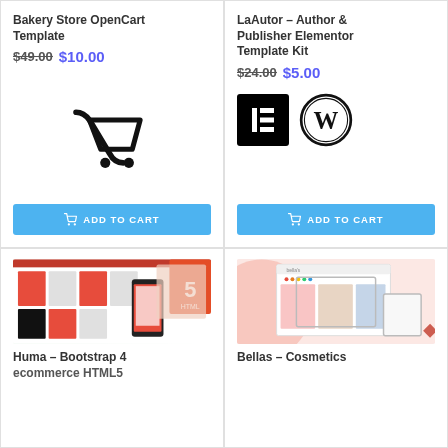Bakery Store OpenCart Template
$49.00 $10.00
[Figure (illustration): Shopping cart icon in black]
[Figure (other): ADD TO CART button in blue]
LaAutor – Author & Publisher Elementor Template Kit
$24.00 $5.00
[Figure (logo): Elementor logo (black square with E icon) and WordPress logo]
[Figure (other): ADD TO CART button in blue]
[Figure (screenshot): Huma Bootstrap 4 ecommerce HTML5 template screenshot showing fashion store]
Huma – Bootstrap 4 ecommerce HTML5
[Figure (screenshot): Bellas Cosmetics template screenshot showing beauty store on devices]
Bellas – Cosmetics